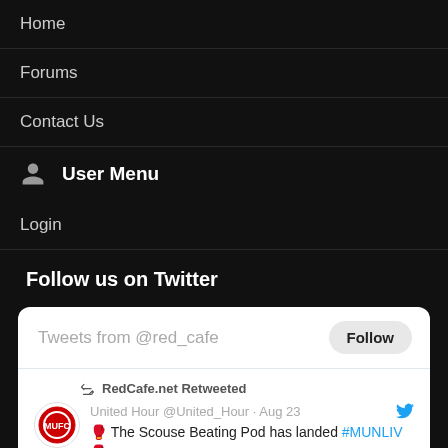Home
Forums
Contact Us
User Menu
Login
Follow us on Twitter
[Figure (screenshot): Twitter widget showing Tweets from @red_cafe with a Follow button, and a retweet by RedCafe.net of United Hour @United_Hour · Aug 23 tweet: '🥊 The Scouse Beating Pod has landed #MUNLIV 🥊']